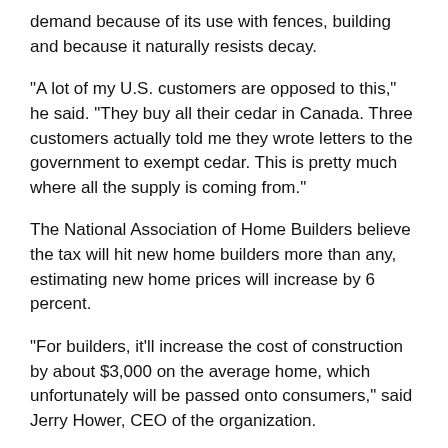demand because of its use with fences, building and because it naturally resists decay.
“A lot of my U.S. customers are opposed to this,” he said. “They buy all their cedar in Canada. Three customers actually told me they wrote letters to the government to exempt cedar. This is pretty much where all the supply is coming from.”
The National Association of Home Builders believe the tax will hit new home builders more than any, estimating new home prices will increase by 6 percent.
“For builders, it’ll increase the cost of construction by about $3,000 on the average home, which unfortunately will be passed onto consumers,” said Jerry Hower, CEO of the organization.
The group argues that higher lumber prices will slow down construction activity, eventually costing the U.S. around 8,000 jobs and $500 billion in lost wages.
The group argues that the U.S. and Canadian agriculture and